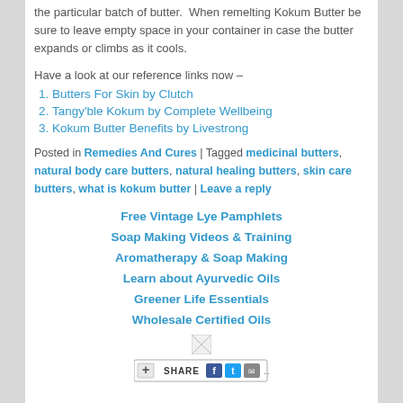the particular batch of butter. When remelting Kokum Butter be sure to leave empty space in your container in case the butter expands or climbs as it cools.
Have a look at our reference links now –
Butters For Skin by Clutch
Tangy'ble Kokum by Complete Wellbeing
Kokum Butter Benefits by Livestrong
Posted in Remedies And Cures | Tagged medicinal butters, natural body care butters, natural healing butters, skin care butters, what is kokum butter | Leave a reply
Free Vintage Lye Pamphlets
Soap Making Videos & Training
Aromatherapy & Soap Making
Learn about Ayurvedic Oils
Greener Life Essentials
Wholesale Certified Oils
[Figure (other): Broken image placeholder]
[Figure (screenshot): Share bar with +SHARE, Facebook, Twitter, Email icons]